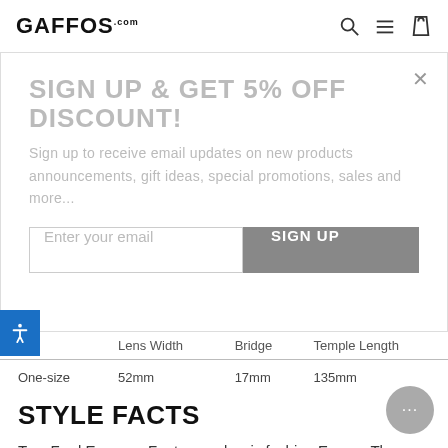GAFFOS.com
SIGN UP & GET 5% OFF DISCOUNT!
Sign up to receive email updates on new products announcements, gift ideas, special promotions, sales and more...
Enter your email | SIGN UP
|  | Lens Width | Bridge | Temple Length |
| --- | --- | --- | --- |
| One-size | 52mm | 17mm | 135mm |
STYLE FACTS
Tom Ford Eyewear Feature a classic fashion Eyewear. These Eyewear will give you the sophisticated look you were always looking for.